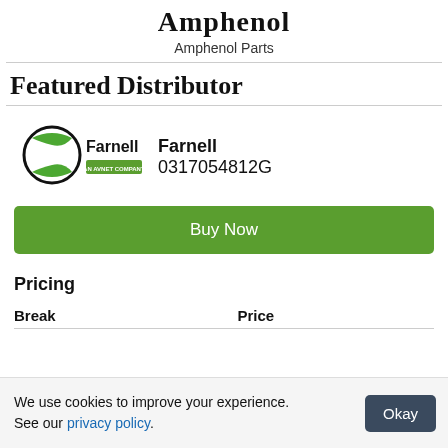Amphenol Parts
Featured Distributor
[Figure (logo): Farnell - An Avnet Company logo with green and black globe icon]
Farnell
0317054812G
Buy Now
Pricing
| Break | Price |
| --- | --- |
We use cookies to improve your experience. See our privacy policy.